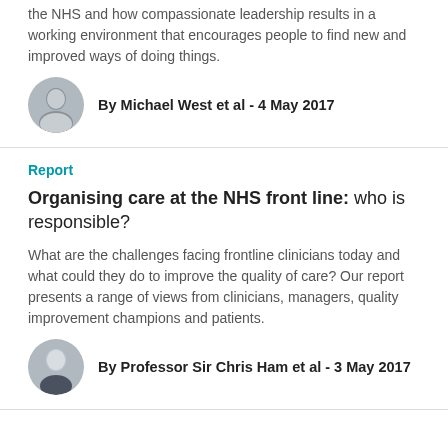the NHS and how compassionate leadership results in a working environment that encourages people to find new and improved ways of doing things.
By Michael West et al - 4 May 2017
Report
Organising care at the NHS front line: who is responsible?
What are the challenges facing frontline clinicians today and what could they do to improve the quality of care? Our report presents a range of views from clinicians, managers, quality improvement champions and patients.
By Professor Sir Chris Ham et al - 3 May 2017